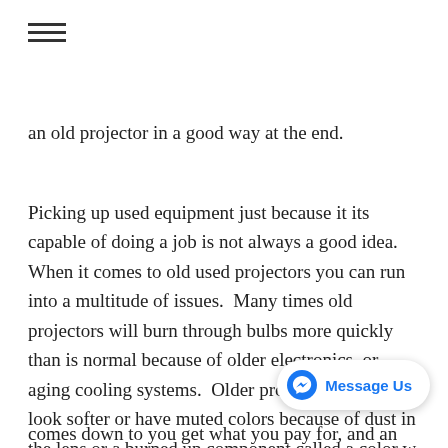≡
an old projector in a good way at the end.
Picking up used equipment just because it its capable of doing a job is not always a good idea.  When it comes to old used projectors you can run into a multitude of issues.  Many times old projectors will burn through bulbs more quickly than is normal because of older electronics, or aging cooling systems.  Older projectors also may look softer or have muted colors because of dust in the lens or a burned up component called a color w... comes down to you get what you pay for, and an